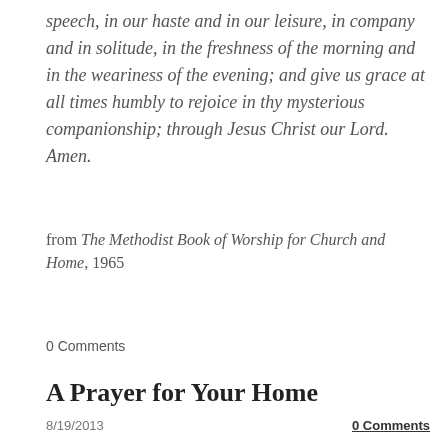speech, in our haste and in our leisure, in company and in solitude, in the freshness of the morning and in the weariness of the evening; and give us grace at all times humbly to rejoice in thy mysterious companionship; through Jesus Christ our Lord. Amen.
from The Methodist Book of Worship for Church and Home, 1965
0 Comments
A Prayer for Your Home
8/19/2013
0 Comments